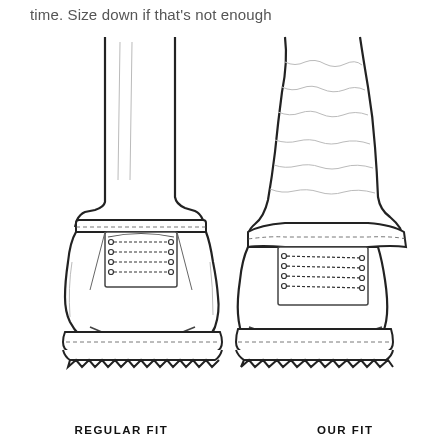time. Size down if that's not enough
[Figure (illustration): Two side-by-side line-art illustrations of boots from the front. Left boot labeled REGULAR FIT shows a well-fitted boot with a relaxed ankle collar lying flat. Right boot labeled OUR FIT shows a slimmer ankle fit with the ankle collar pulled snug against the ankle, showing excess fabric of pants bunched above.]
REGULAR FIT
OUR FIT